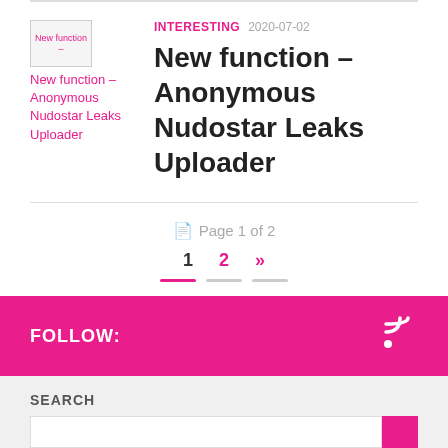[Figure (other): Thumbnail image placeholder labeled 'New function – Anonymous Nudostar Leaks Uploader' with pink link text]
INTERESTING  2020-07-02
New function – Anonymous Nudostar Leaks Uploader
Page 1 of 2
1  2  »
FOLLOW:
SEARCH